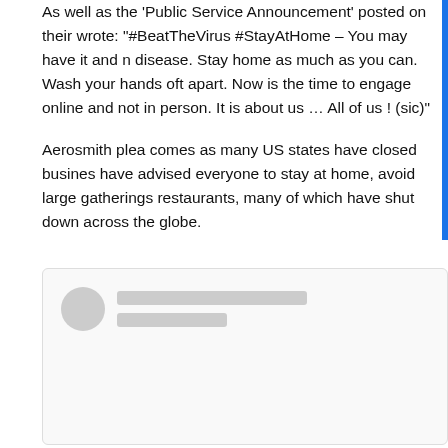As well as the 'Public Service Announcement' posted on their wrote: "#BeatTheVirus #StayAtHome – You may have it and n disease. Stay home as much as you can. Wash your hands oft apart. Now is the time to engage online and not in person. It is about us … All of us ! (sic)"
Aerosmith plea comes as many US states have closed busines have advised everyone to stay at home, avoid large gatherings restaurants, many of which have shut down across the globe.
[Figure (screenshot): A blurred/redacted social media post card with a circular avatar placeholder and two gray placeholder lines for username and handle.]